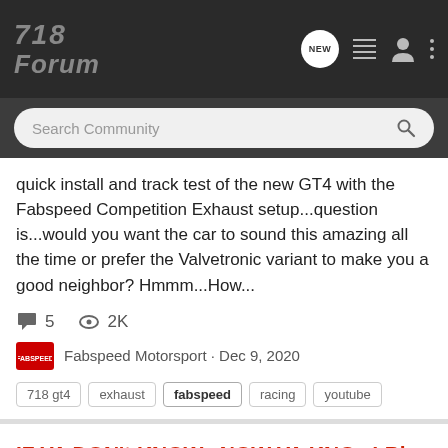718 Forum
quick install and track test of the new GT4 with the Fabspeed Competition Exhaust setup...question is...would you want the car to sound this amazing all the time or prefer the Valvetronic variant to make you a good neighbor? Hmmm...How...
5 comments · 2K views · Fabspeed Motorsport · Dec 9, 2020
718 gt4, exhaust, fabspeed, racing, youtube
IF YA DON't KNOW...NOW YA KNOw! Big Savings Start Today at Fabspeed.
2017+ Porsche 718 General Discussion Forum
Hey there 718'ers, Black Friday Sale Starts now...email or